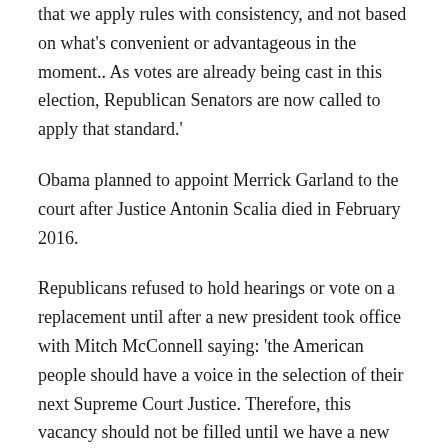that we apply rules with consistency, and not based on what's convenient or advantageous in the moment.. As votes are already being cast in this election, Republican Senators are now called to apply that standard.'
Obama planned to appoint Merrick Garland to the court after Justice Antonin Scalia died in February 2016.
Republicans refused to hold hearings or vote on a replacement until after a new president took office with Mitch McConnell saying: 'the American people should have a voice in the selection of their next Supreme Court Justice. Therefore, this vacancy should not be filled until we have a new president'
The seat was not filled and two weeks after taking office Trump appointed his own choice, Neil Gorsuch, to the court.